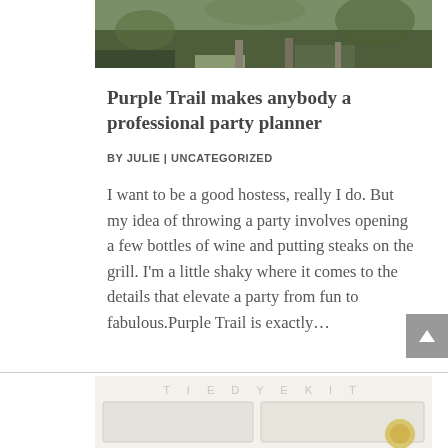[Figure (photo): Partial outdoor garden/patio photo showing green foliage and stone paving, cropped at top]
Purple Trail makes anybody a professional party planner
BY JULIE | UNCATEGORIZED
I want to be a good hostess, really I do. But my idea of throwing a party involves opening a few bottles of wine and putting steaks on the grill. I'm a little shaky where it comes to the details that elevate a party from fun to fabulous.Purple Trail is exactly…
[Figure (photo): Bottom portion of a TIE DYE KIT product box with compartments and a sunflower visible]